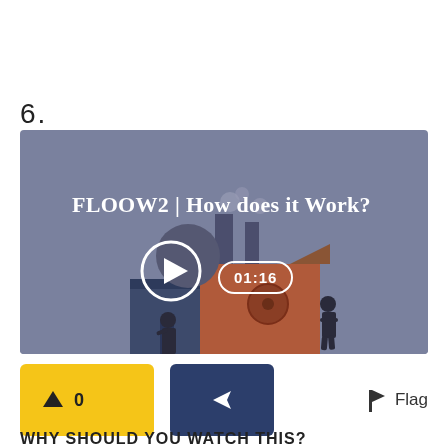6.
[Figure (screenshot): Video thumbnail for 'FLOOW2 | How does it Work?' showing an animated factory illustration with two human figures, a play button circle, and a duration badge reading 01:16. Background is blue-grey.]
↑ 0  [share]  Flag
WHY SHOULD YOU WATCH THIS?